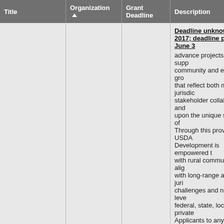| Title | Organization ▲ | Grant Deadline | Description |
| --- | --- | --- | --- |
| Strategic Economic and Community Development (SECD) | USDA |  | Deadline unknown for 2017; deadline passed on June 3 advance projects which support community and economic growth that reflect both multi-jurisdictional stakeholder collaboration and build upon the unique strengths of… Through this provision, USDA Rural Development is empowered to work with rural communities to align resources with long-range and multi-jurisdictional challenges and needs by leveraging federal, state, local, or private... Applicants to any of several Rural Development programs whose projects support the implementation of a multi-jurisdictional strategic economic and community development plan will be eligible for priority consideration through SECD. Consideration will be based on how well the project supports a multijurisdictional plan and (S... |